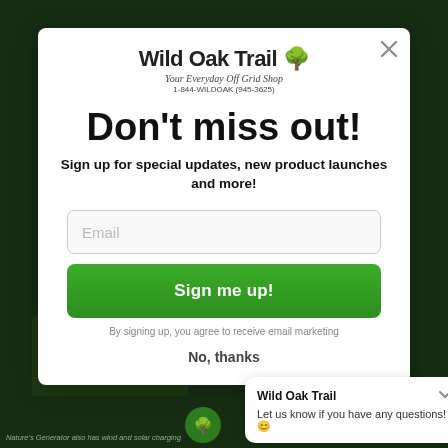[Figure (screenshot): Wild Oak Trail website screenshot in background showing dark green product page]
[Figure (logo): Wild Oak Trail logo with green tree icon and tagline 'Your Everyday Off Grid Shop', phone number 1-844-WILDOAK (945-3625)]
Don't miss out!
Sign up for special updates, new product launches and more!
Email
Sign me up!
By signing up, you agree to receive email marketing
No, thanks
Wild Oak Trail
Let us know if you have any questions! 😊